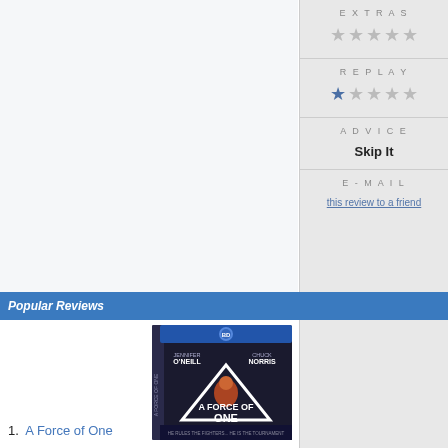EXTRAS
★★★★★ (empty stars)
REPLAY
★★★★★ (1 half star)
ADVICE
Skip It
E-MAIL
this review to a friend
Popular Reviews
[Figure (photo): Blu-ray cover of 'A Force of One' featuring Jennifer O'Neill and Chuck Norris]
1. A Force of One